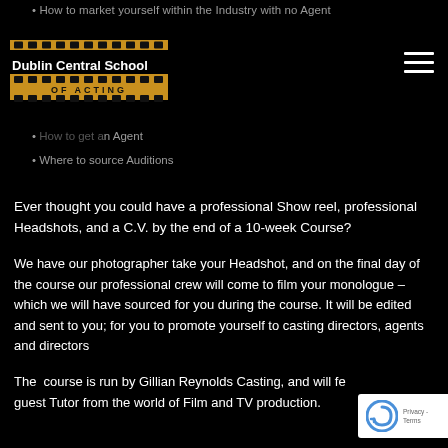How to market yourself within the Industry with no Agent
[Figure (logo): Dublin Central School of Acting logo with film strip and golden banner]
How to get an Agent
Where to source Auditions
Ever thought you could have a professional Show reel, professional Headshots, and a C.V. by the end of a 10-week Course?
We have our photographer take your Headshot, and on the final day of the course our professional crew will come to film your monologue – which we will have sourced for you during the course. It will be edited and sent to you; for you to promote yourself to casting directors, agents and directors
The  course is run by Gillian Reynolds Casting, and will feature a guest Tutor from the world of Film and TV production.